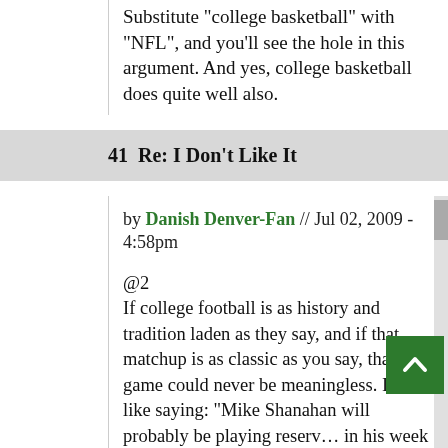Substitute 'college basketball' with 'NFL', and you'll see the hole in this argument. And yes, college basketball does quite well also.
41  Re: I Don't Like It
by Danish Denver-Fan // Jul 02, 2009 - 4:58pm

@2
If college football is as history and tradition laden as they say, and if that matchup is as classic as you say, that game could never be meaningless. It's like saying: "Mike Shanahan will probably be playing reserv... in his week 17 matchup against the Raide... because, you know, the game doesn't matter." It just wont happen.